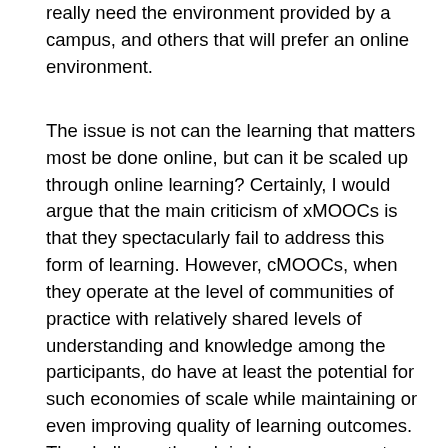really need the environment provided by a campus, and others that will prefer an online environment.
The issue is not can the learning that matters most be done online, but can it be scaled up through online learning? Certainly, I would argue that the main criticism of xMOOCs is that they spectacularly fail to address this form of learning. However, cMOOCs, when they operate at the level of communities of practice with relatively shared levels of understanding and knowledge among the participants, do have at least the potential for such economies of scale while maintaining or even improving quality of learning outcomes. The challenge though is how one accounts for the hidden costs of the participation of experts in such professional sharing, which rely heavily on volunteering or ‘moonlighting’ from a paid job by those with the expertise. I suspect though that even if these costs were calculated, they would still prove more ‘productive’ than conventional campus-based